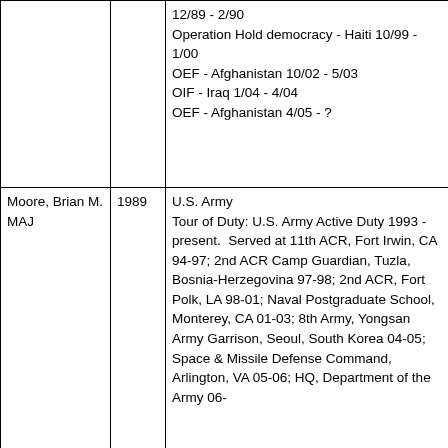| Name/Rank | Year | Service/Details |
| --- | --- | --- |
|  |  | 12/89 - 2/90
Operation Hold democracy - Haiti 10/99 - 1/00
OEF - Afghanistan 10/02 - 5/03
OIF - Iraq 1/04 - 4/04
OEF - Afghanistan 4/05 - ? |
| Moore, Brian M.
MAJ | 1989 | U.S. Army
Tour of Duty: U.S. Army Active Duty 1993 - present.  Served at 11th ACR, Fort Irwin, CA 94-97; 2nd ACR Camp Guardian, Tuzla, Bosnia-Herzegovina 97-98; 2nd ACR, Fort Polk, LA 98-01; Naval Postgraduate School, Monterey, CA 01-03; 8th Army, Yongsan Army Garrison, Seoul, South Korea 04-05; Space & Missile Defense Command, Arlington, VA 05-06; HQ, Department of the Army 06- |